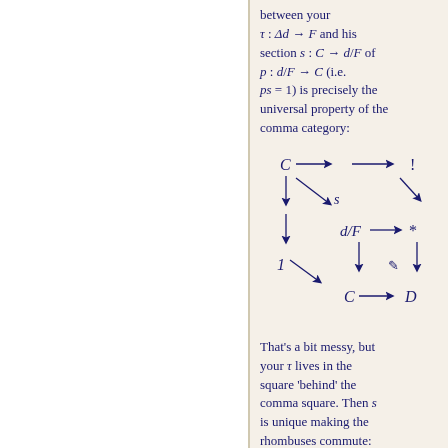between your τ: Δd → F and his section s: C → d/F of p: d/F → C (i.e. ps = 1) is precisely the universal property of the comma category:
[Figure (math-figure): Commutative diagram showing C → → !, with diagonal s, d/F →*, 1 with arrows, C → D]
That's a bit messy, but your τ lives in the square 'behind' the comma square. Then s is unique making the rhombuses commute: the top one commutes trivially, because both